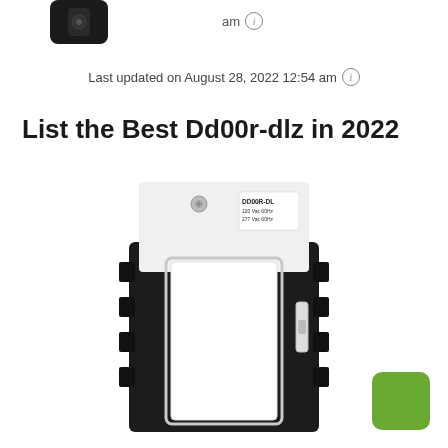[Figure (photo): Partial top of a black device (possibly a smart home device or switch) visible at top left of the page]
am ℹ
Last updated on August 28, 2022 12:54 am ℹ
List the Best Dd00r-dlz in 2022
[Figure (photo): Product photo of a Lutron DD00R-DL dimmer switch showing front view with white rocker paddle, black mounting frame, and label reading DD00R-DL 120 Vac 60Hz 277 Vac 60Hz on the back chassis]
[Figure (other): Green rounded rectangle button in bottom right corner]